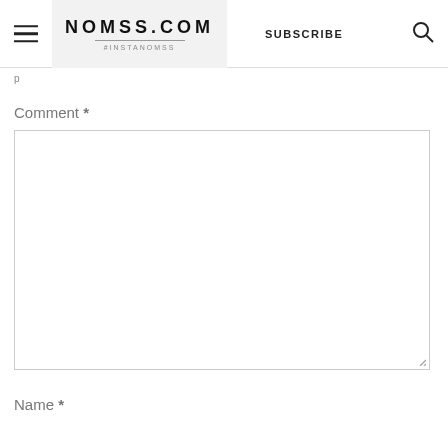NOMSS.COM #INSTANOMSS SUBSCRIBE
Comment *
Name *